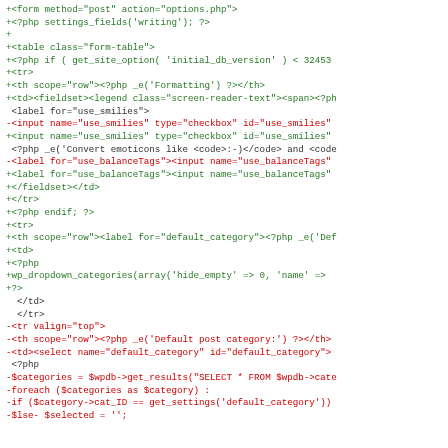[Figure (screenshot): A code diff view showing PHP/HTML source code changes. Lines prefixed with '+' are shown in green (additions), lines prefixed with '-' are shown in red (deletions), and lines without prefix are shown in dark gray (context). The code relates to a WordPress settings form for writing options.]